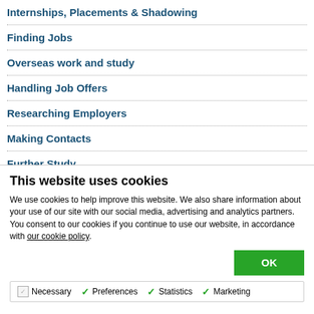Internships, Placements & Shadowing
Finding Jobs
Overseas work and study
Handling Job Offers
Researching Employers
Making Contacts
Further Study
This website uses cookies
We use cookies to help improve this website. We also share information about your use of our site with our social media, advertising and analytics partners. You consent to our cookies if you continue to use our website, in accordance with our cookie policy.
OK
Necessary   Preferences   Statistics   Marketing